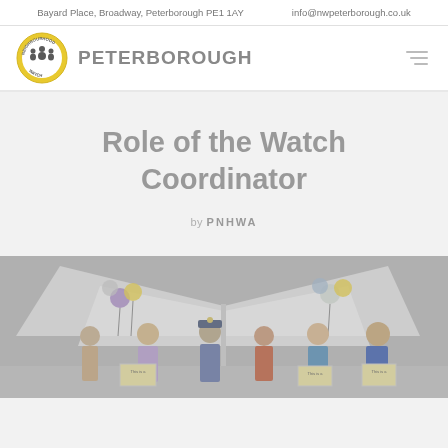Bayard Place, Broadway, Peterborough PE1 1AY    info@nwpeterborough.co.uk
[Figure (logo): Peterborough Neighbourhood Watch circular logo with people silhouettes and text, alongside bold text PETERBOROUGH]
Role of the Watch Coordinator
by PNHWA
[Figure (photo): Group of people including a police officer standing under a white gazebo tent with balloons, holding signs that read 'This is a...' at what appears to be a community event]